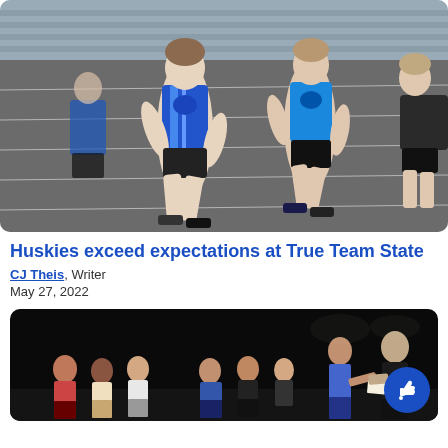[Figure (photo): Track and field race photo showing high school runners in blue Huskies uniforms running on a track. Multiple runners visible, foreground runner in blue striped singlet, another in solid blue.]
Huskies exceed expectations at True Team State
CJ Theis, Writer
May 27, 2022
[Figure (photo): Dark stage photo showing several students seated in chairs on the left, and two people standing on the right — one appears to be receiving something from the other (possibly an award ceremony). A thumbs-up button overlay is visible in the bottom right corner.]